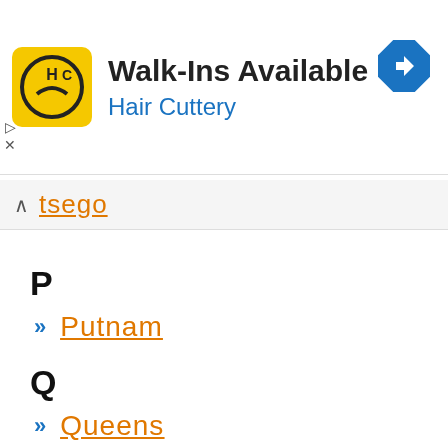[Figure (logo): Hair Cuttery advertisement banner with HC logo in yellow square, text 'Walk-Ins Available' and 'Hair Cuttery' in blue, with a blue navigation diamond icon on the right]
tsego
P
Putnam
Q
Queens
R